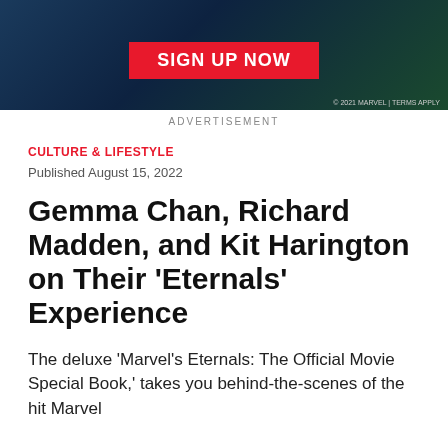[Figure (illustration): Marvel advertisement banner with dark blue and green background featuring comic-style artwork, a red 'SIGN UP NOW' button, and small copyright text '© 2021 MARVEL | TERMS APPLY']
ADVERTISEMENT
CULTURE & LIFESTYLE
Published August 15, 2022
Gemma Chan, Richard Madden, and Kit Harington on Their 'Eternals' Experience
The deluxe 'Marvel's Eternals: The Official Movie Special Book,' takes you behind-the-scenes of the hit Marvel